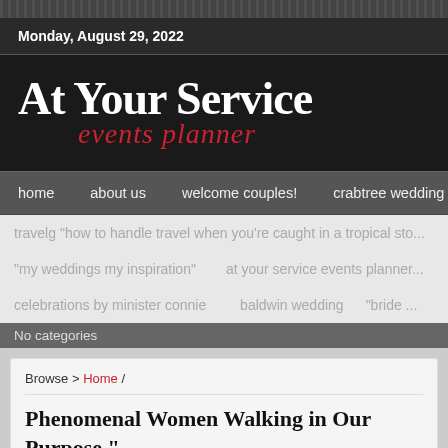Monday, August 29, 2022
[Figure (logo): At Your Service events planner logo on dark background]
home   about us   welcome couples!   crabtree wedding
travelg "how to handle travel when you're caught in a tropical sto...
"my weddings my inspiration"   at your service events planner...
celebrations by minister connie   baldwin wedding   "bride...
No categories
Browse > Home /
Phenomenal Women Walking in Our Purpose "... Conference 3/14/20
December 29, 2018 by connie